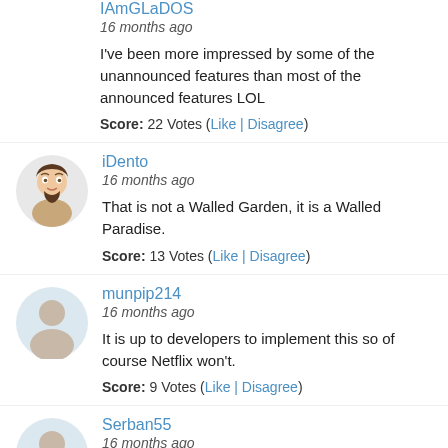IAmGLaDOS
16 months ago
I've been more impressed by some of the unannounced features than most of the announced features LOL
Score: 22 Votes (Like | Disagree)
iDento
16 months ago
That is not a Walled Garden, it is a Walled Paradise.
Score: 13 Votes (Like | Disagree)
munpip214
16 months ago
It is up to developers to implement this so of course Netflix won't.
Score: 9 Votes (Like | Disagree)
Serban55
16 months ago
Beautiful very beautiful
Score: 6 Votes (Like | Disagree)